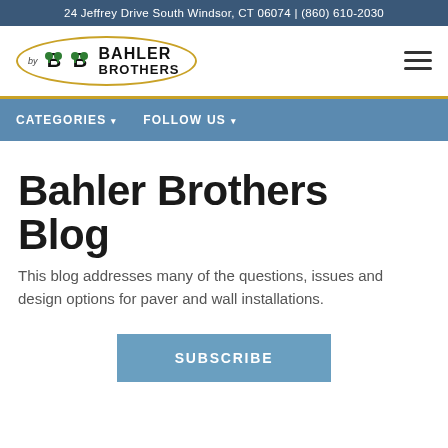24 Jeffrey Drive South Windsor, CT 06074 | (860) 610-2030
[Figure (logo): Bahler Brothers logo inside a gold oval with two green trees and BB lettering]
CATEGORIES ▾   FOLLOW US ▾
Bahler Brothers Blog
This blog addresses many of the questions, issues and design options for paver and wall installations.
SUBSCRIBE